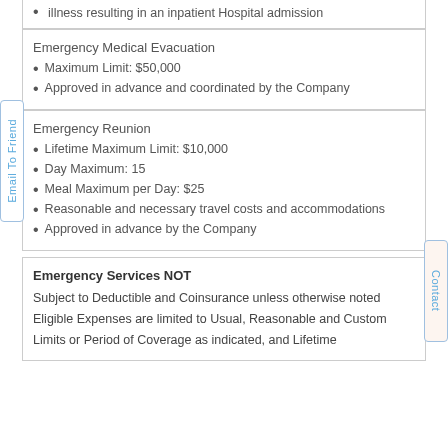illness resulting in an inpatient Hospital admission
Emergency Medical Evacuation
Maximum Limit: $50,000
Approved in advance and coordinated by the Company
Emergency Reunion
Lifetime Maximum Limit: $10,000
Day Maximum: 15
Meal Maximum per Day: $25
Reasonable and necessary travel costs and accommodations
Approved in advance by the Company
Emergency Services NOT
Subject to Deductible and Coinsurance unless otherwise noted
Eligible Expenses are limited to Usual, Reasonable and Custom
Limits or Period of Coverage as indicated, and Lifetime